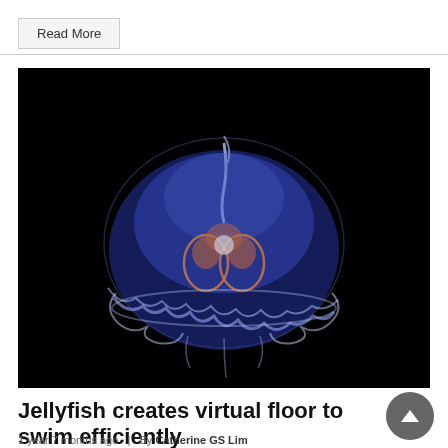Read More
[Figure (photo): A blue jellyfish photographed against a black background, showing its translucent bell and internal structures including four visible gonads forming a figure-eight pattern.]
Jellyfish creates virtual floor to swim efficiently
1 year 7 months ago  |  By Catherine GS Lim